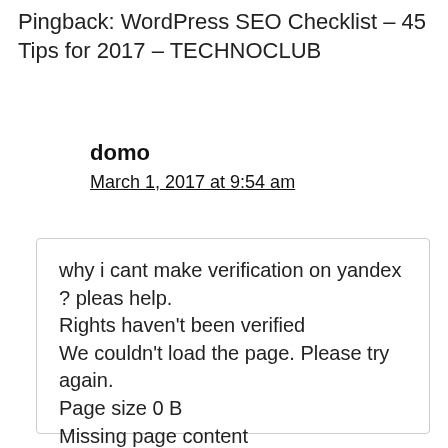Pingback: WordPress SEO Checklist – 45 Tips for 2017 – TECHNOCLUB
domo
March 1, 2017 at 9:54 am
why i cant make verification on yandex ? pleas help.
Rights haven't been verified
We couldn't load the page. Please try again.
Page size 0 B
Missing page content